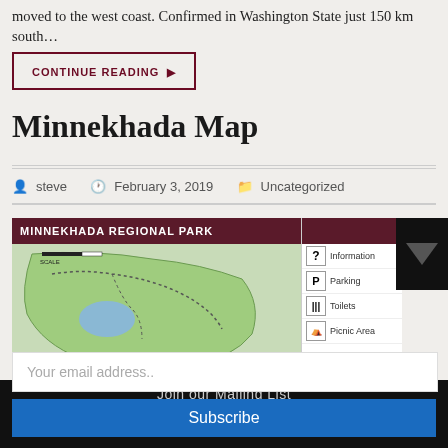moved to the west coast. Confirmed in Washington State just 150 km south…
CONTINUE READING ▶
Minnekhada Map
steve  February 3, 2019  Uncategorized
[Figure (map): Minnekhada Regional Park trail map with legend showing Information, Parking, Toilets, Picnic Area icons]
Join our Mailing List
Your email address..
Subscribe